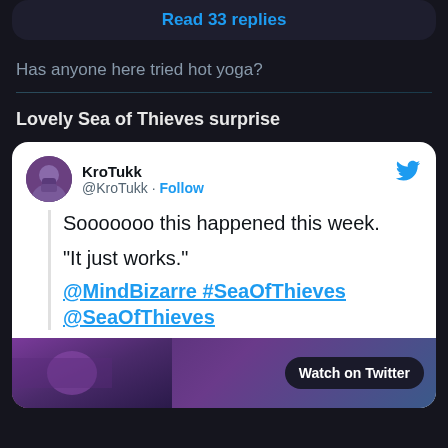Read 33 replies
Has anyone here tried hot yoga?
Lovely Sea of Thieves surprise
[Figure (screenshot): Embedded tweet from @KroTukk saying 'Soooooo this happened this week. "It just works." @MindBizarre #SeaOfThieves @SeaOfThieves' with a video thumbnail showing 'Watch on Twitter']